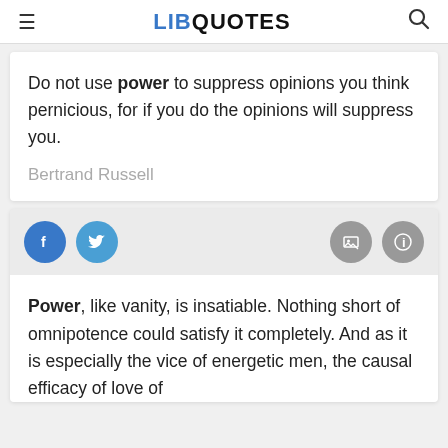LIB QUOTES
Do not use power to suppress opinions you think pernicious, for if you do the opinions will suppress you.
Bertrand Russell
[Figure (other): Social sharing bar with Facebook, Twitter, image, and info icon buttons]
Power, like vanity, is insatiable. Nothing short of omnipotence could satisfy it completely. And as it is especially the vice of energetic men, the causal efficacy of love of